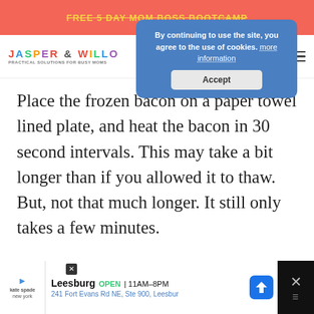FREE 5 DAY MOM BOSS BOOTCAMP
[Figure (screenshot): Cookie consent overlay dialog with blue background. Text: 'By continuing to use the site, you agree to the use of cookies. more information' and an Accept button.]
[Figure (logo): Jasper & Willo logo with colorful letters and subtitle 'Practical Solutions for Busy Moms']
Place the frozen bacon on a paper towel lined plate, and heat the bacon in 30 second intervals. This may take a bit longer than if you allowed it to thaw. But, not that much longer. It still only takes a few minutes.
[Figure (screenshot): Advertisement bar at bottom: Kate Spade ad showing Leesburg store, OPEN 11AM-8PM, 241 Fort Evans Rd NE, Ste 900, Leesbur. Blue direction button and close button on right.]